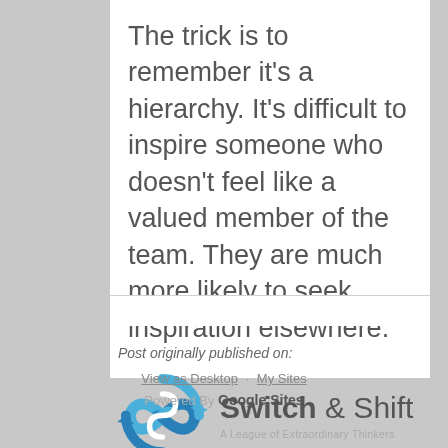The trick is to remember it's a hierarchy. It's difficult to inspire someone who doesn't feel like a valued member of the team. They are much more likely to seek inspiration elsewhere.
Post originally published on:
[Figure (logo): Switch & Shift — A League of Extraordinary Thinkers logo with circular arrow icon in blue]
1-10 of 21  < >  View as Desktop · My Sites  Powered By Google Sites